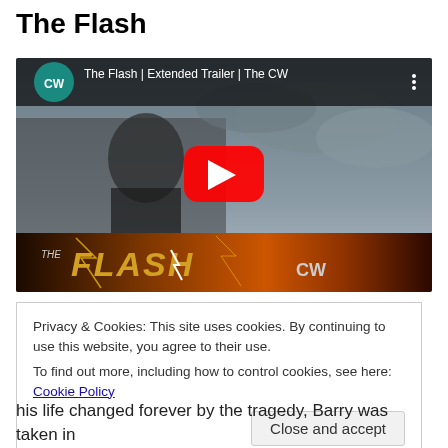The Flash
[Figure (screenshot): YouTube video thumbnail for 'The Flash | Extended Trailer | The CW' showing a young man against a stormy sky background, with The CW logo and THE FLASH CW branding at the bottom, and a YouTube play button overlay.]
Privacy & Cookies: This site uses cookies. By continuing to use this website, you agree to their use.
To find out more, including how to control cookies, see here: Cookie Policy
his life changed forever by the tragedy, Barry was taken in